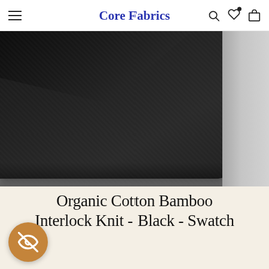Core Fabrics
[Figure (photo): Close-up photograph of folded dark charcoal/black organic cotton bamboo interlock knit fabric on a light grey surface]
Organic Cotton Bamboo Interlock Knit - Black - Swatch